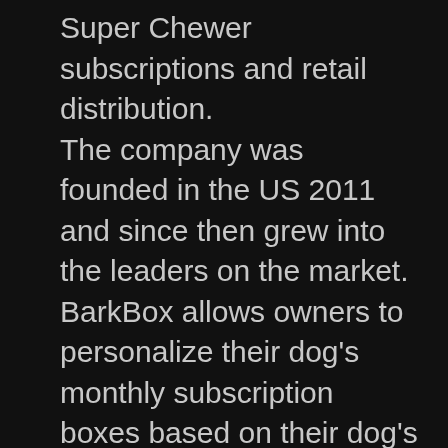Super Chewer subscriptions and retail distribution. The company was founded in the US 2011 and since then grew into the leaders on the market. BarkBox allows owners to personalize their dog's monthly subscription boxes based on their dog's needs. They offer 1-, 6-, 12- month plans. Each dog is unique and requires different toy options to match their style of play, that's why owners can personalize their boxes. Also, the company launched their special product lines. For instance, BARK Bright, is a dog wellness product line which includes Bright Dental — an enzymatic gel toothpaste and dental chew. Bright Denta